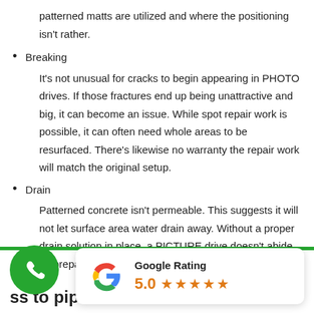patterned matts are utilized and where the positioning isn't rather.
Breaking
It's not unusual for cracks to begin appearing in PHOTO drives. If those fractures end up being unattractive and big, it can become an issue. While spot repair work is possible, it can often need whole areas to be resurfaced. There's likewise no warranty the repair work will match the original setup.
Drain
Patterned concrete isn't permeable. This suggests it will not let surface area water drain away. Without a proper drain solution in place, a PICTURE drive doesn't abide by preparation guidelines for front gardens.
ss to pipework
[Figure (logo): Google Rating badge showing 5.0 stars with Google G logo]